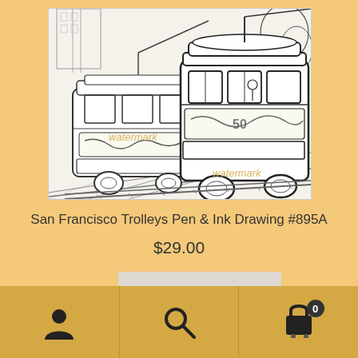[Figure (illustration): Black and white pen and ink drawing of two San Francisco trolley cable cars on a street, with buildings and trees in the background. Watermark text visible on the image.]
San Francisco Trolleys Pen & Ink Drawing #895A
$29.00
Add to cart